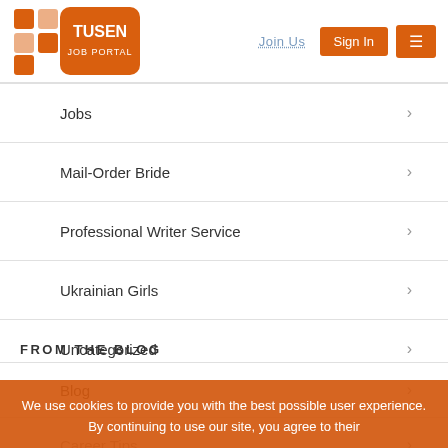TUSEN JOB PORTAL — Join Us | Sign In
Jobs
Mail-Order Bride
Professional Writer Service
Ukrainian Girls
Uncategorized
FROM THE BLOG
Blog
Career Tips
Education
We use cookies to provide you with the best possible user experience. By continuing to use our site, you agree to their